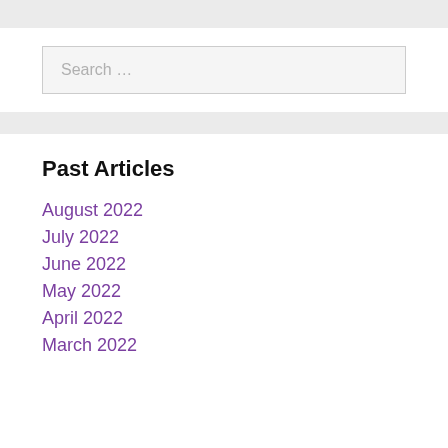Search …
Past Articles
August 2022
July 2022
June 2022
May 2022
April 2022
March 2022